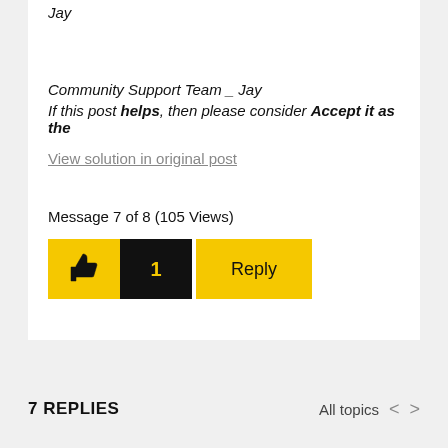Jay
Community Support Team _ Jay
If this post helps, then please consider Accept it as the
View solution in original post
Message 7 of 8 (105 Views)
7 REPLIES   All topics  < >